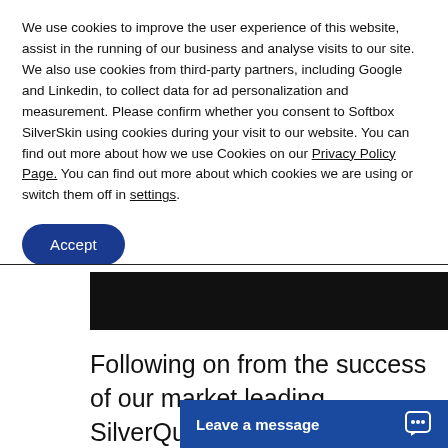We use cookies to improve the user experience of this website, assist in the running of our business and analyse visits to our site. We also use cookies from third-party partners, including Google and Linkedin, to collect data for ad personalization and measurement. Please confirm whether you consent to Softbox SilverSkin using cookies during your visit to our website. You can find out more about how we use Cookies on our Privacy Policy Page. You can find out more about which cookies we are using or switch them off in settings.
Accept
[Figure (screenshot): Dark black banner/image strip partially visible below cookie overlay]
Following on from the success of our market leading SilverQuilt™material, we have continued to develop our range of multi-la
Leave a message